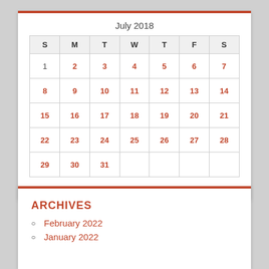July 2018
| S | M | T | W | T | F | S |
| --- | --- | --- | --- | --- | --- | --- |
| 1 | 2 | 3 | 4 | 5 | 6 | 7 |
| 8 | 9 | 10 | 11 | 12 | 13 | 14 |
| 15 | 16 | 17 | 18 | 19 | 20 | 21 |
| 22 | 23 | 24 | 25 | 26 | 27 | 28 |
| 29 | 30 | 31 |  |  |  |  |
« Jun   Aug »
ARCHIVES
February 2022
January 2022